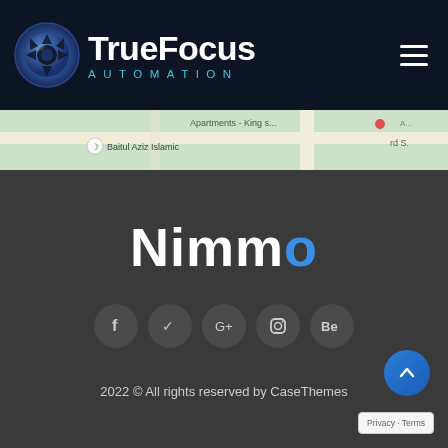TrueFocus Automation
[Figure (map): Google Maps strip showing Baitul Aziz Islamic location, with road map tiles and labels including 'Apartments - King s...' and 'Baitul Aziz Islamic']
Nimmo
[Figure (infographic): Row of 5 circular social media icon buttons: Facebook (f), Twitter (bird/checkmark), Google+ (G+), Instagram (camera), Behance (Be)]
2022 © All rights reserved by CaseThemes